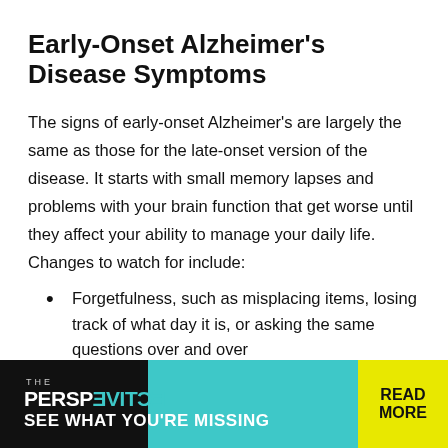Early-Onset Alzheimer's Disease Symptoms
The signs of early-onset Alzheimer's are largely the same as those for the late-onset version of the disease. It starts with small memory lapses and problems with your brain function that get worse until they affect your ability to manage your daily life. Changes to watch for include:
Forgetfulness, such as misplacing items, losing track of what day it is, or asking the same questions over and over
Trouble calling up certain words or using the wrong word
[Figure (other): Advertisement banner for 'The Perspective' publication with teal and black background and yellow 'READ MORE' button. Text reads: 'THE PERSPECTIVE SEE WHAT YOU'RE MISSING']